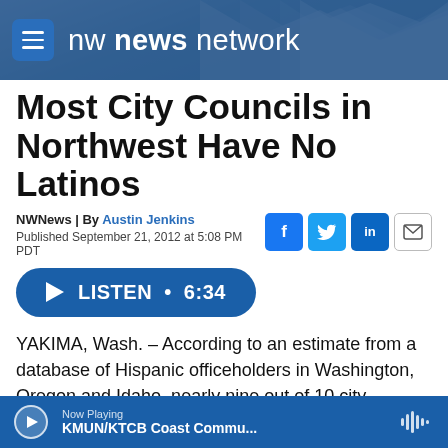nw news network
Most City Councils in Northwest Have No Latinos
NWNews | By Austin Jenkins
Published September 21, 2012 at 5:08 PM PDT
[Figure (other): Listen audio button showing play icon with text LISTEN • 6:34]
YAKIMA, Wash. – According to an estimate from a database of Hispanic officeholders in Washington, Oregon and Idaho, nearly nine out of 10 city councils in the Northwest have no Latino
Now Playing  KMUN/KTCB Coast Commu...